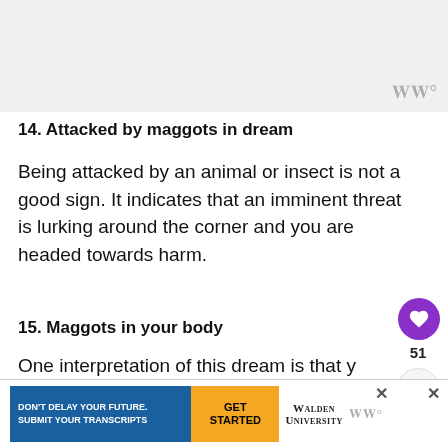[Figure (photo): Gray image area at top of page, partially visible]
14. Attacked by maggots in dream
Being attacked by an animal or insect is not a good sign. It indicates that an imminent threat is lurking around the corner and you are headed towards harm.
15. Maggots in your body
One interpretation of this dream is that y
ha ppiness that one are struggling with
[Figure (screenshot): Advertisement banner for Walden University with blue background text DON'T DELAY YOUR FUTURE. SUBMIT YOUR TRANSCRIPTS, orange GET STARTED button, and Walden University logo]